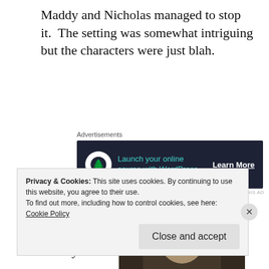Maddy and Nicholas managed to stop it.  The setting was somewhat intriguing but the characters were just blah.
[Figure (other): Advertisement banner for launching an online course with WordPress, dark navy background with teal text and tree logo. 'Launch your online course with WordPress' with 'Learn More' CTA.]
The main characters, Maddy and
[Figure (photo): A woman in a bridal veil and tiara looking directly at camera, dark cinematic scene.]
Privacy & Cookies: This site uses cookies. By continuing to use this website, you agree to their use.
To find out more, including how to control cookies, see here:
Cookie Policy
Close and accept